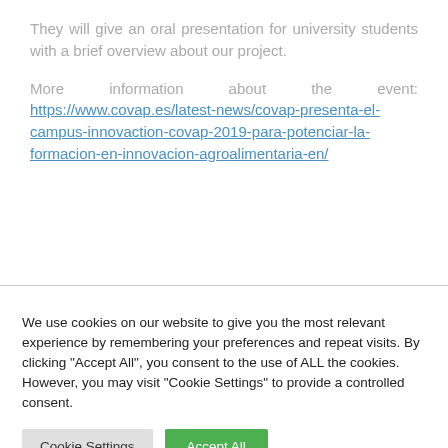They will give an oral presentation for university students with a brief overview about our project.
More information about the event: https://www.covap.es/latest-news/covap-presenta-el-campus-innovaction-covap-2019-para-potenciar-la-formacion-en-innovacion-agroalimentaria-en/
We use cookies on our website to give you the most relevant experience by remembering your preferences and repeat visits. By clicking "Accept All", you consent to the use of ALL the cookies. However, you may visit "Cookie Settings" to provide a controlled consent.